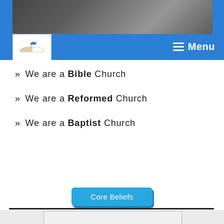[Figure (photo): Header with a photo of people at the top, a church logo on the left, and a Menu button on the right on a blue background bar]
» We are a Bible Church
» We are a Reformed Church
» We are a Baptist Church
Core Beliefs
[Figure (other): Gray section at the bottom with an outlined rectangle box]